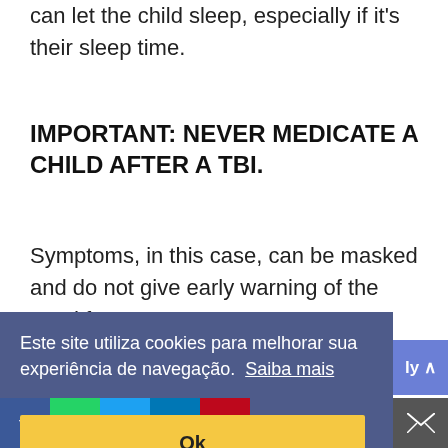can let the child sleep, especially if it's their sleep time.
IMPORTANT: NEVER MEDICATE A CHILD AFTER A TBI.
Symptoms, in this case, can be masked and do not give early warning of the need for urgent care.
Este site utiliza cookies para melhorar sua experiência de navegação. Saiba mais
Ok